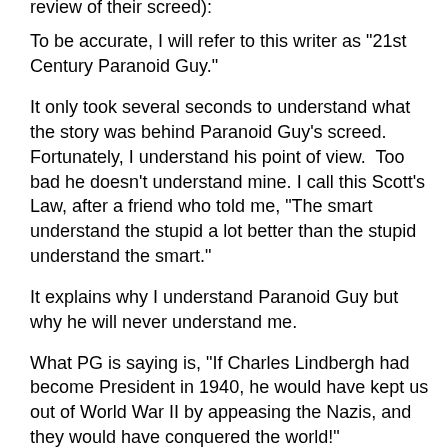review of their screed):
To be accurate, I will refer to this writer as "21st Century Paranoid Guy."
It only took several seconds to understand what the story was behind Paranoid Guy's screed.  Fortunately, I understand his point of view.  Too bad he doesn't understand mine. I call this Scott's Law, after a friend who told me, "The smart understand the stupid a lot better than the stupid understand the smart."
It explains why I understand Paranoid Guy but why he will never understand me.
What PG is saying is, "If Charles Lindbergh had become President in 1940, he would have kept us out of World War II by appeasing the Nazis, and they would have conquered the world!"
He's also saying, "If Lindbergh or someone like him was President now, he would keep us out of World War III by appeasing those Islamo-fascists, and they would have conquered the world!"
I like to call this "the Pinky and the Brain Fallacy."  (Pinky: